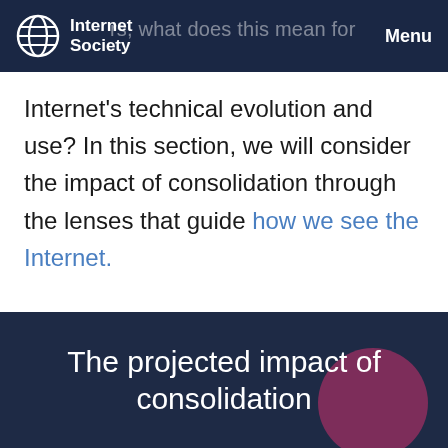Internet Society | Menu
Internet's technical evolution and use? In this section, we will consider the impact of consolidation through the lenses that guide how we see the Internet.
The projected impact of consolidation